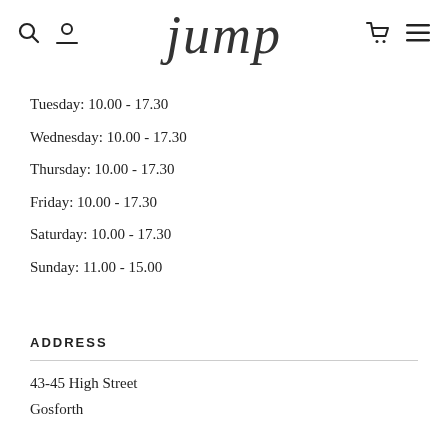jump
Tuesday: 10.00 - 17.30
Wednesday: 10.00 - 17.30
Thursday: 10.00 - 17.30
Friday: 10.00 - 17.30
Saturday: 10.00 - 17.30
Sunday: 11.00 - 15.00
ADDRESS
43-45 High Street
Gosforth